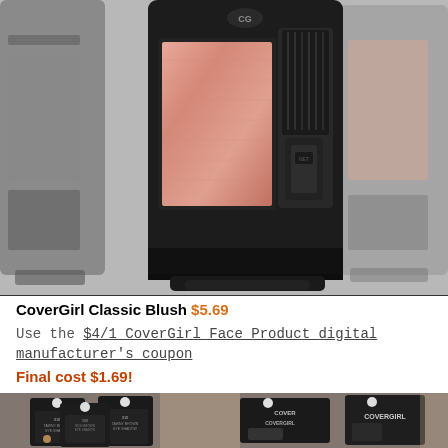[Figure (photo): CoverGirl Classic Blush compact products displayed — center compact open showing peachy-pink blush pan with brush, flanked by partially visible compacts on left and right with similar blush colors, against a light gray background]
CoverGirl Classic Blush $5.69
Use the $4/1 CoverGirl Face Product digital manufacturer's coupon
Final cost $1.69!
[Figure (photo): CoverGirl products hanging on retail store pegs/hooks, showing multiple black packaged products with price tags, partially visible COVERGIRL branding on packaging]